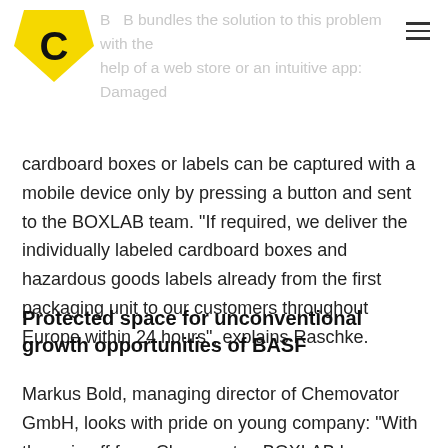[Figure (logo): Yellow pentagon/shield shape logo with bold black letter C]
B B bundles the solution to this problem with the help of a web store or an intuitive app: Damaged
cardboard boxes or labels can be captured with a mobile device only by pressing a button and sent to the BOXLAB team. "If required, we deliver the individually labeled cardboard boxes and hazardous goods labels already from the first packaging unit to our customers throughout Europe within 24 hours", explains Raschke.
Protected space for unconventional growth opportunities of BASF
Markus Bold, managing director of Chemovator GmbH, looks with pride on young company: “With the spin off from Chemovator, BOXLAB becomes a prime